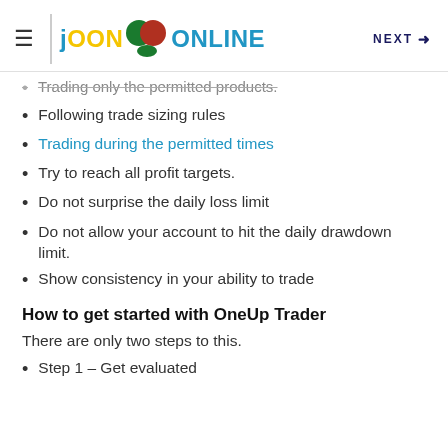JOON ONLINE  NEXT →
Trading only the permitted products.
Following trade sizing rules
Trading during the permitted times
Try to reach all profit targets.
Do not surprise the daily loss limit
Do not allow your account to hit the daily drawdown limit.
Show consistency in your ability to trade
How to get started with OneUp Trader
There are only two steps to this.
Step 1 – Get evaluated